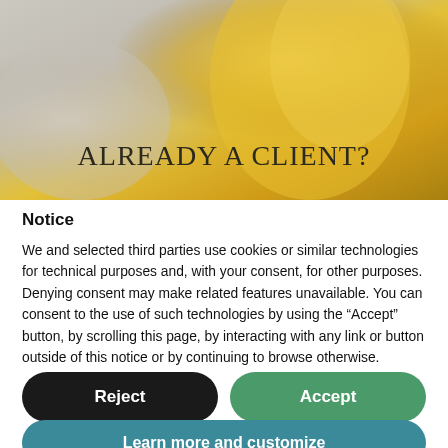[Figure (photo): Hero image with yellow and grey blurred background, possibly cups or cylinders]
ALREADY A CLIENT?
Notice
We and selected third parties use cookies or similar technologies for technical purposes and, with your consent, for other purposes. Denying consent may make related features unavailable. You can consent to the use of such technologies by using the “Accept” button, by scrolling this page, by interacting with any link or button outside of this notice or by continuing to browse otherwise.
Reject
Accept
Learn more and customize